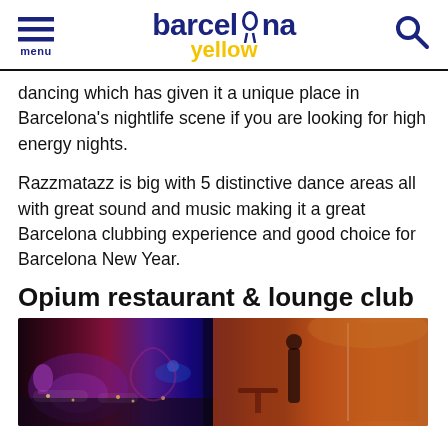menu | barcelona yellow | [search]
dancing which has given it a unique place in Barcelona's nightlife scene if you are looking for high energy nights.
Razzmatazz is big with 5 distinctive dance areas all with great sound and music making it a great Barcelona clubbing experience and good choice for Barcelona New Year.
Opium restaurant & lounge club
[Figure (photo): Interior photo of Opium restaurant and lounge club in Barcelona, showing a dark atmospheric space with colorful lighting, purple and red tones, lounge seating areas, candles, and a bar or restaurant space visible through glass on the right side lit with warm orange light.]